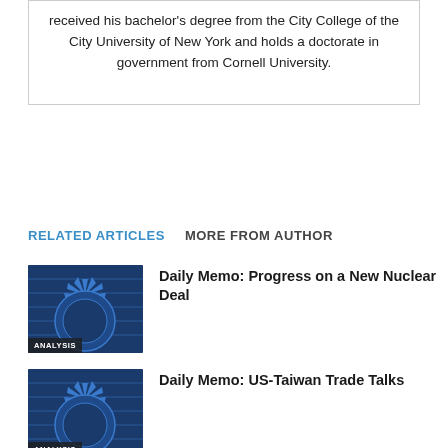received his bachelor's degree from the City College of the City University of New York and holds a doctorate in government from Cornell University.
RELATED ARTICLES   MORE FROM AUTHOR
Daily Memo: Progress on a New Nuclear Deal
Daily Memo: US-Taiwan Trade Talks
The Scalable World War Ahead